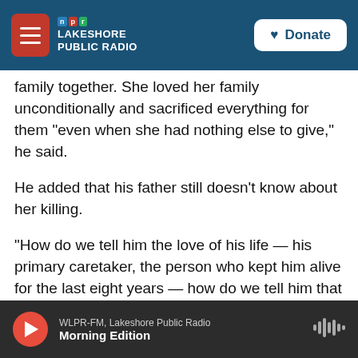LAKESHORE PUBLIC RADIO — Donate
family together. She loved her family unconditionally and sacrificed everything for them "even when she had nothing else to give," he said.
He added that his father still doesn't know about her killing.
"How do we tell him the love of his life — his primary caretaker, the person who kept him alive for the last eight years — how do we tell him that she's gone?" he said. "Not just that she's gone, but that she's gone at the hands of a white supremacist, of a terrorist, of an evil person who's
WLPR-FM, Lakeshore Public Radio — Morning Edition